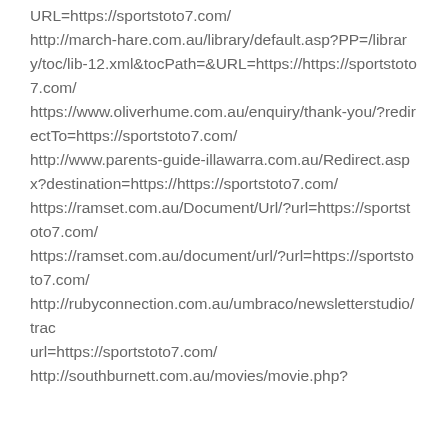URL=https://sportstoto7.com/
http://march-hare.com.au/library/default.asp?PP=/library/toc/lib-12.xml&tocPath=&URL=https://https://sportstoto7.com/
https://www.oliverhume.com.au/enquiry/thank-you/?redirectTo=https://sportstoto7.com/
http://www.parents-guide-illawarra.com.au/Redirect.aspx?destination=https://https://sportstoto7.com/
https://ramset.com.au/Document/Url/?url=https://sportstoto7.com/
https://ramset.com.au/document/url/?url=https://sportstoto7.com/
http://rubyconnection.com.au/umbraco/newsletterstudio/tracking/...url=https://sportstoto7.com/
http://southburnett.com.au/movies/movie.php?